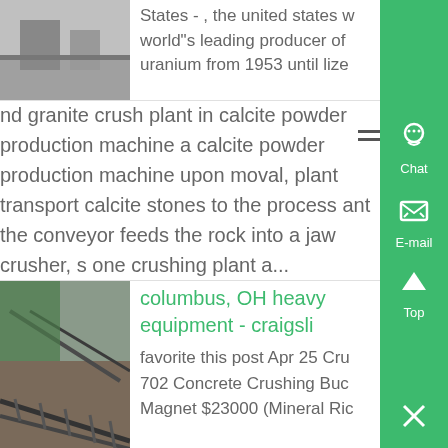[Figure (photo): Industrial/mining facility photo at top left]
States - , the united states w world"s leading producer of uranium from 1953 until lize
nd granite crush plant in calcite powder production machine a calcite powder production machine upon moval, plant transport calcite stones to the process ant the conveyor feeds the rock into a jaw crusher, s one crushing plant a...
[Figure (photo): Conveyor belt / mining equipment photo at bottom left]
columbus, OH heavy equipment - craigsli
favorite this post Apr 25 Cru 702 Concrete Crushing Buc Magnet $23000 (Mineral Ric